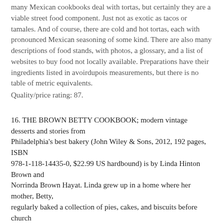many Mexican cookbooks deal with tortas, but certainly they are a viable street food component. Just not as exotic as tacos or tamales. And of course, there are cold and hot tortas, each with pronounced Mexican seasoning of some kind. There are also many descriptions of food stands, with photos, a glossary, and a list of websites to buy food not locally available. Preparations have their ingredients listed in avoirdupois measurements, but there is no table of metric equivalents.
Quality/price rating: 87.
16. THE BROWN BETTY COOKBOOK; modern vintage desserts and stories from Philadelphia's best bakery (John Wiley & Sons, 2012, 192 pages, ISBN 978-1-118-14435-0, $22.99 US hardbound) is by Linda Hinton Brown and Norrinda Brown Hayat. Linda grew up in a home where her mother, Betty, regularly baked a collection of pies, cakes, and biscuits before church